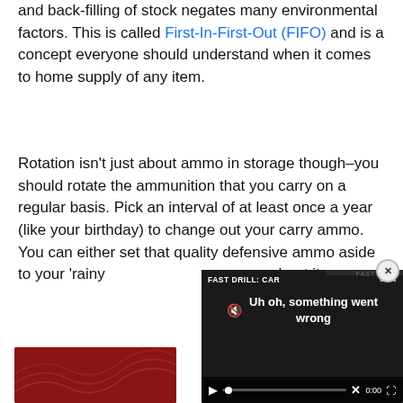and back-filling of stock negates many environmental factors. This is called First-In-First-Out (FIFO) and is a concept everyone should understand when it comes to home supply of any item.
Rotation isn't just about ammo in storage though–you should rotate the ammunition that you carry on a regular basis. Pick an interval of at least once a year (like your birthday) to change out your carry ammo. You can either set that quality defensive ammo aside to your 'rainy [day fund' or just] shoot it.
[Figure (screenshot): Video player overlay showing 'FAST DRILL: CAR' title and error message 'Uh oh, something went wrong' with playback controls at 0:00]
[Figure (photo): Partial image with dark red background showing topographic-style contour line patterns]